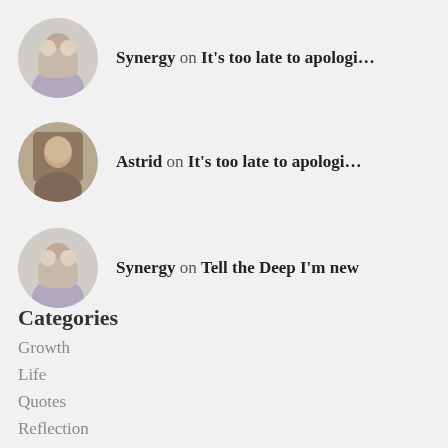Synergy on It's too late to apologi…
Astrid on It's too late to apologi…
Synergy on Tell the Deep I'm new
Categories
Growth
Life
Quotes
Reflection
Uncategorized